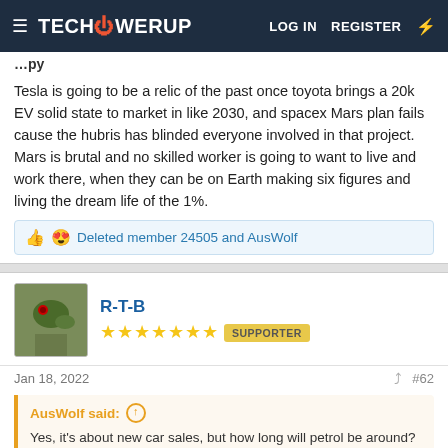TECHPOWERUP  LOG IN  REGISTER
Tesla is going to be a relic of the past once toyota brings a 20k EV solid state to market in like 2030, and spacex Mars plan fails cause the hubris has blinded everyone involved in that project. Mars is brutal and no skilled worker is going to want to live and work there, when they can be on Earth making six figures and living the dream life of the 1%.
Deleted member 24505 and AusWolf
R-T-B
SUPPORTER
Jan 18, 2022
#62
AusWolf said:
Yes, it's about new car sales, but how long will petrol be around? How long will my car last? What happens after? What about people like